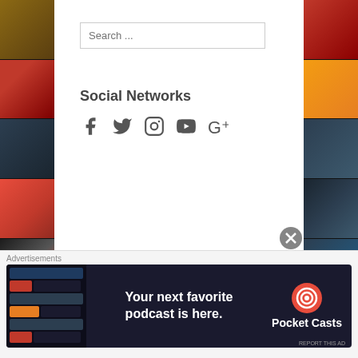[Figure (photo): Left film strip with movie posters]
[Figure (photo): Right film strip with movie posters]
Search ...
Social Networks
[Figure (infographic): Social media icons: Facebook, Twitter, Instagram, YouTube, Google+]
Recent Posts
The Top-100 MOVIES from the 1980's (20-11)
'Me Time' (REVIEW) Hart And Wahlberg Team Up For The Usual Hijinks!
'Samaritan' (REVIEW) Stallone Shines As A Grizzled Old Hero!
Advertisements
[Figure (screenshot): Pocket Casts advertisement: Your next favorite podcast is here.]